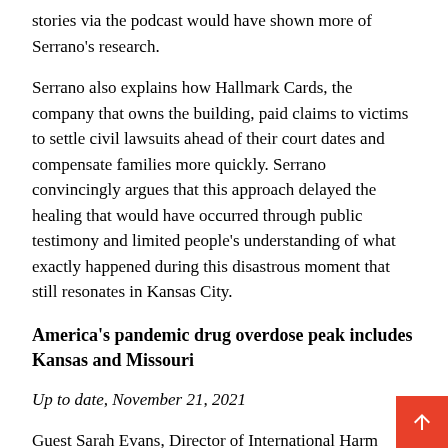stories via the podcast would have shown more of Serrano's research.
Serrano also explains how Hallmark Cards, the company that owns the building, paid claims to victims to settle civil lawsuits ahead of their court dates and compensate families more quickly. Serrano convincingly argues that this approach delayed the healing that would have occurred through public testimony and limited people's understanding of what exactly happened during this disastrous moment that still resonates in Kansas City.
America's pandemic drug overdose peak includes Kansas and Missouri
Up to date, November 21, 2021
Guest Sarah Evans, Director of International Harm Reduction Development for Open Society Foundations, and host Steve Kracke first detail the most recent chapter of the opioid